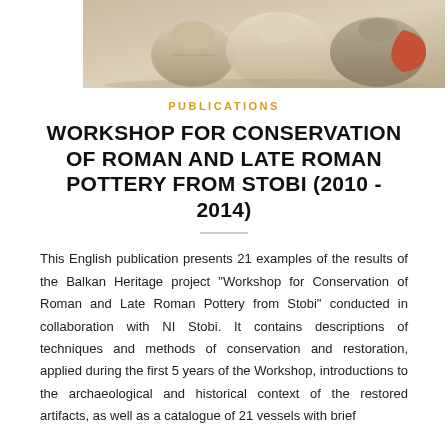[Figure (photo): Photograph of Roman pottery vessels/sherds from Stobi, showing ceramic fragments with earthy tones and one with red slip decoration, displayed against a light background.]
PUBLICATIONS
WORKSHOP FOR CONSERVATION OF ROMAN AND LATE ROMAN POTTERY FROM STOBI (2010 - 2014)
This English publication presents 21 examples of the results of the Balkan Heritage project "Workshop for Conservation of Roman and Late Roman Pottery from Stobi" conducted in collaboration with NI Stobi. It contains descriptions of techniques and methods of conservation and restoration, applied during the first 5 years of the Workshop, introductions to the archaeological and historical context of the restored artifacts, as well as a catalogue of 21 vessels with brief